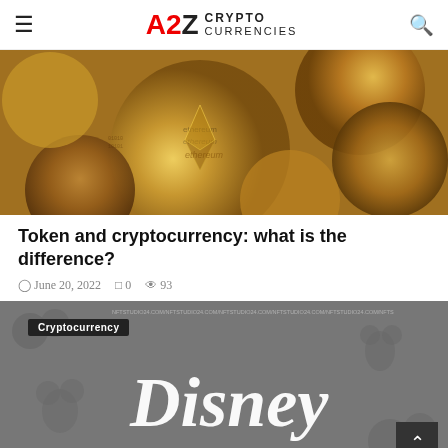A2Z CRYPTO Currencies
[Figure (photo): Stack of gold and copper cryptocurrency coins including Ethereum and Bitcoin]
Token and cryptocurrency: what is the difference?
June 20, 2022  0  93
[Figure (photo): Disney logo in white on a grey background with cartoon characters, with a 'Cryptocurrency' tag label overlay]